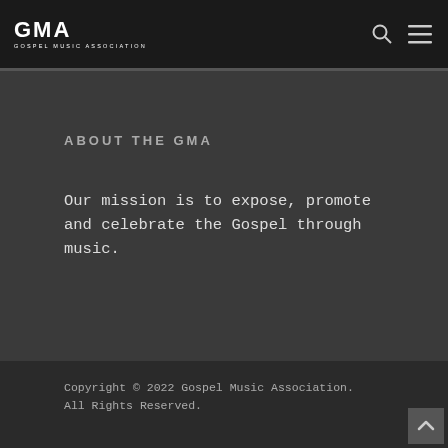GMA GOSPEL MUSIC ASSOCIATION
ABOUT THE GMA
Our mission is to expose, promote and celebrate the Gospel through music.
Copyright © 2022 Gospel Music Association. All Rights Reserved.